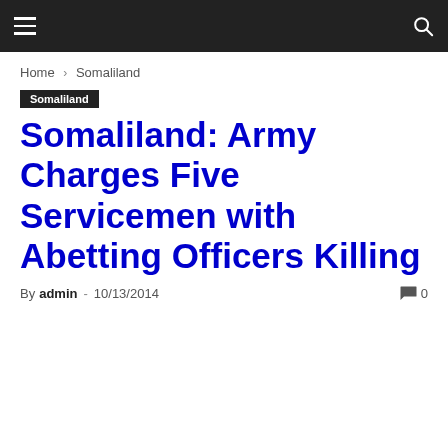Navigation bar with hamburger menu and search icon
Home › Somaliland
Somaliland
Somaliland: Army Charges Five Servicemen with Abetting Officers Killing
By admin - 10/13/2014  0